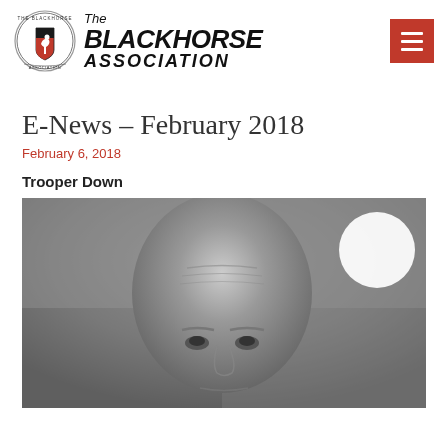[Figure (logo): The Blackhorse Association logo with circular emblem on left and text on right]
E-News – February 2018
February 6, 2018
Trooper Down
[Figure (photo): Black and white close-up photograph of a bald elderly man's face, looking upward, with a white circle overlay in the upper right area of the image]